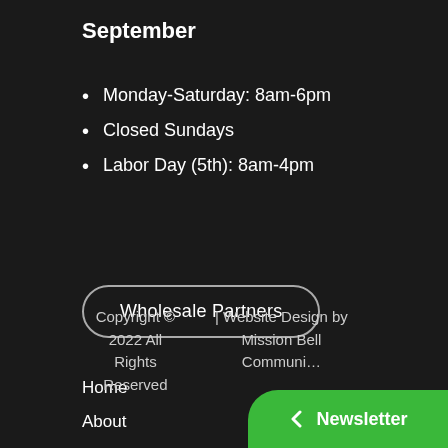September
Monday-Saturday: 8am-6pm
Closed Sundays
Labor Day (5th): 8am-4pm
Wholesale Partners
Home
About
Privacy Policy
Employment
Copyright © 2022 All Rights Reserved | Website Design by Mission Bell Communi...
Newsletter